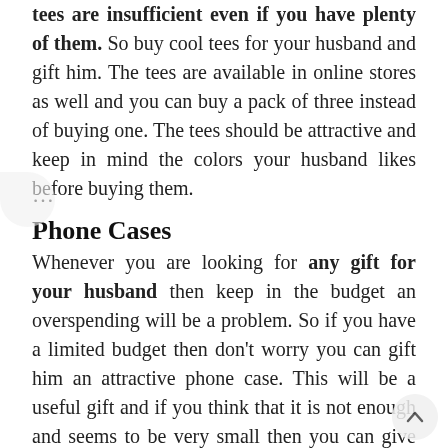tees are insufficient even if you have plenty of them. So buy cool tees for your husband and gift him. The tees are available in online stores as well and you can buy a pack of three instead of buying one. The tees should be attractive and keep in mind the colors your husband likes before buying them.
Phone Cases
Whenever you are looking for any gift for your husband then keep in the budget an overspending will be a problem. So if you have a limited budget then don't worry you can gift him an attractive phone case. This will be a useful gift and if you think that it is not enough and seems to be very small then you can give chocolate gifts that is available in so many different flavors and taste is amazing. The Exquisite chocolate collection consists of 12 pieces of chocolate with flavors of Mocha, Passion fruit, Orange, Hazelnut and French Biscuits. The exquisite chocolate discovers a small...